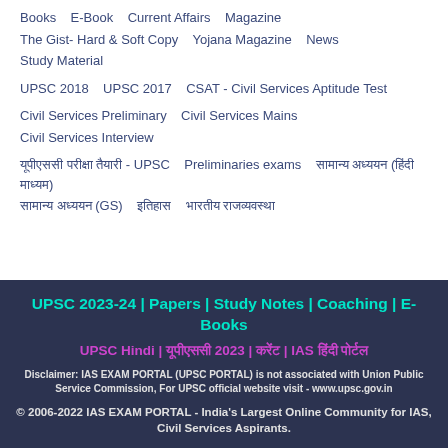Books   E-Book   Current Affairs   Magazine
The Gist- Hard & Soft Copy   Yojana Magazine   News
Study Material
UPSC 2018   UPSC 2017   CSAT - Civil Services Aptitude Test
Civil Services Preliminary   Civil Services Mains
Civil Services Interview
यूपीएससी परीक्षा तैयारी - UPSC   Preliminaries exams   सामान्य अध्ययन (हिंदी माध्यम)
सामान्य अध्ययन (GS)   इतिहास   भारतीय राजव्यवस्था
UPSC 2023-24 | Papers | Study Notes | Coaching | E-Books
UPSC Hindi | यूपीएससी 2023 | करेंट | IAS हिंदी पोर्टल
Disclaimer: IAS EXAM PORTAL (UPSC PORTAL) is not associated with Union Public Service Commission, For UPSC official website visit - www.upsc.gov.in
© 2006-2022 IAS EXAM PORTAL - India's Largest Online Community for IAS, Civil Services Aspirants.